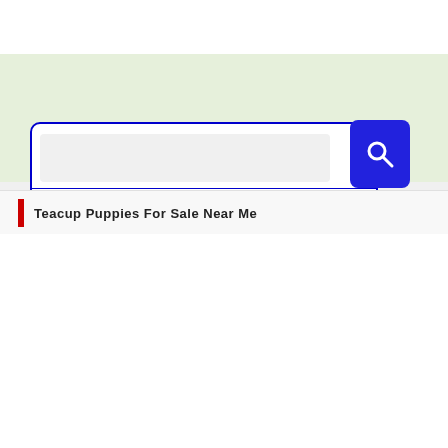[Figure (screenshot): Search widget with blue-bordered input box and blue search button with magnifying glass icon, on a green background]
Teacup Puppies For Sale Near Me
We use cookies on our website to give you the most relevant experience by remembering your preferences and repeat visits. By clicking “Accept”, you consent to the use of ALL the cookies.
Do not sell my personal information.
Cookie Settings   Accept